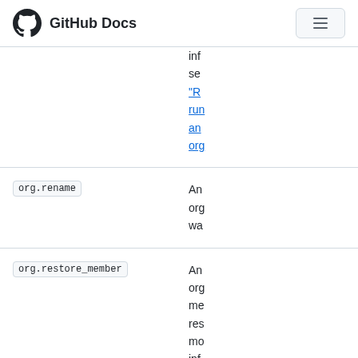GitHub Docs
information see "Reviewing audit logs for your organization..." (truncated, partially visible at top)
| Action | Description |
| --- | --- |
| org.rename | An organization was renamed. For more information, see... |
| org.restore_member | An organization member was restored. For more information, see... |